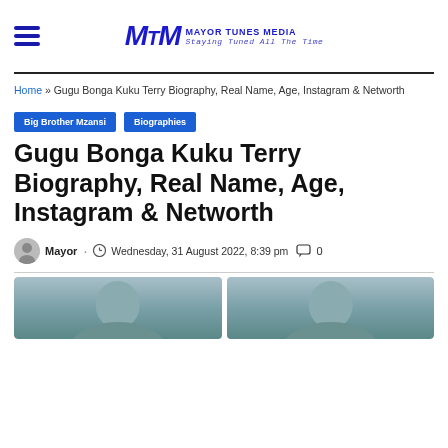Mayor Tunes Media — Staying Tuned All The Time
Home » Gugu Bonga Kuku Terry Biography, Real Name, Age, Instagram & Networth
Big Brother Mzansi
Biographies
Gugu Bonga Kuku Terry Biography, Real Name, Age, Instagram & Networth
Mayor · Wednesday, 31 August 2022, 8:39 pm · 0
[Figure (photo): Two side-by-side photos of person at bottom of page, partially visible]